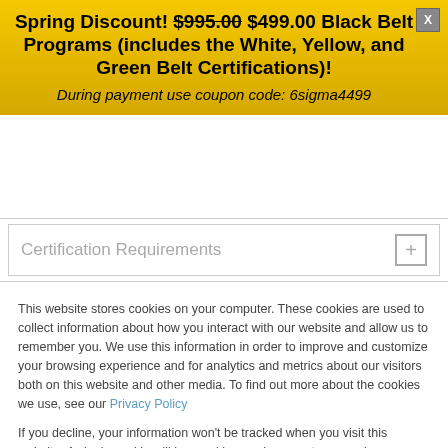Spring Discount! $995.00 $499.00 Black Belt Programs (includes the White, Yellow, and Green Belt Certifications)! During payment use coupon code: 6sigma4499
Certification Requirements
This website stores cookies on your computer. These cookies are used to collect information about how you interact with our website and allow us to remember you. We use this information in order to improve and customize your browsing experience and for analytics and metrics about our visitors both on this website and other media. To find out more about the cookies we use, see our Privacy Policy
If you decline, your information won't be tracked when you visit this website. A single cookie will be used in your browser to remember your preference not to be tracked.